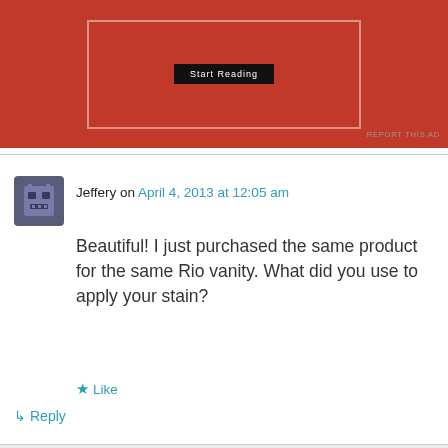[Figure (other): Partial view of a red advertisement banner with a dark button showing 'Start Reading']
REPORT THIS AD
Jeffery on April 4, 2013 at 12:05 am
Beautiful! I just purchased the same product for the same Rio vanity. What did you use to apply your stain?
★ Like
↳ Reply
Advertisements
[Figure (photo): Victoria's Secret advertisement banner with a woman's photo, VS logo, 'SHOP THE COLLECTION' text, and 'SHOP NOW' button]